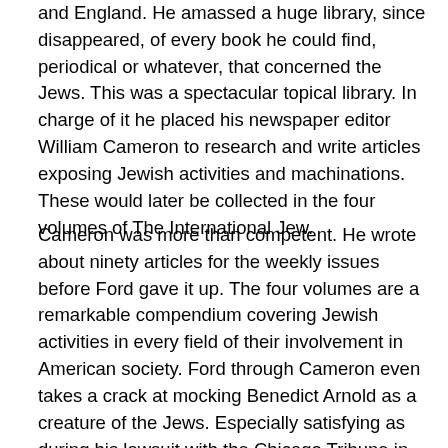and England.  He amassed a huge library, since disappeared, of every book he could find, periodical or whatever, that concerned the Jews.  This was a spectacular topical library.  In charge of it he placed his newspaper editor William Cameron to research and write articles exposing Jewish activities and machinations.  These would later be collected in the four volumes of The International Jew.
Cameron was more than competent.  He wrote about ninety articles for the weekly issues before Ford gave it up.  The four volumes are a remarkable compendium covering Jewish activities in every field of their involvement in American society.  Ford through Cameron even takes a crack at mocking Benedict Arnold as a creature of the Jews.  Especially satisfying as during his lawsuit with the Chicago Tribune in 1919 he flubbed a